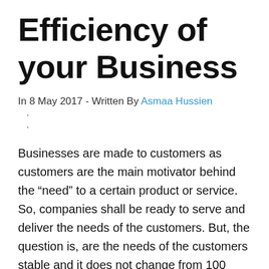Efficiency of your Business
In 8 May 2017 - Written By Asmaa Hussien
Businesses are made to customers as customers are the main motivator behind the “need” to a certain product or service. So, companies shall be ready to serve and deliver the needs of the customers. But, the question is, are the needs of the customers stable and it does not change from 100 years ago?
Of course not, as time changes everything and